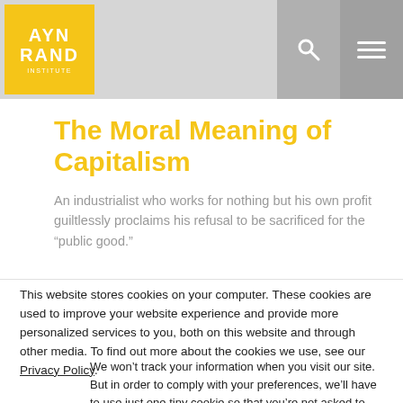AYN RAND INSTITUTE
The Moral Meaning of Capitalism
An industrialist who works for nothing but his own profit guiltlessly proclaims his refusal to be sacrificed for the “public good.”
This website stores cookies on your computer. These cookies are used to improve your website experience and provide more personalized services to you, both on this website and through other media. To find out more about the cookies we use, see our Privacy Policy.
We won’t track your information when you visit our site. But in order to comply with your preferences, we’ll have to use just one tiny cookie so that you’re not asked to make this choice again.